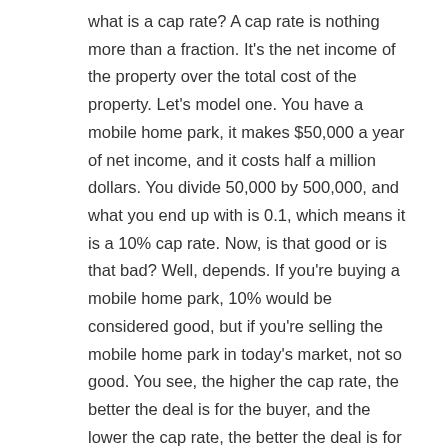what is a cap rate? A cap rate is nothing more than a fraction. It's the net income of the property over the total cost of the property. Let's model one. You have a mobile home park, it makes $50,000 a year of net income, and it costs half a million dollars. You divide 50,000 by 500,000, and what you end up with is 0.1, which means it is a 10% cap rate. Now, is that good or is that bad? Well, depends. If you're buying a mobile home park, 10% would be considered good, but if you're selling the mobile home park in today's market, not so good. You see, the higher the cap rate, the better the deal is for the buyer, and the lower the cap rate, the better the deal is for the seller.
Now, what is the appropriate cap rate? That's